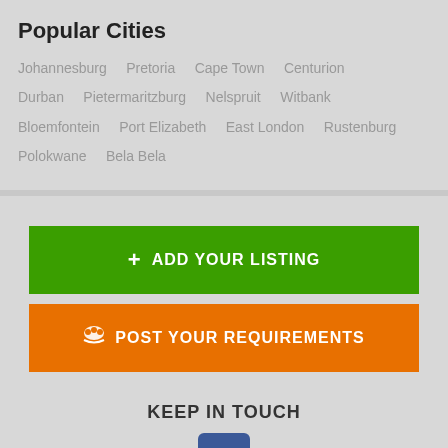Popular Cities
Johannesburg   Pretoria   Cape Town   Centurion   Durban   Pietermaritzburg   Nelspruit   Witbank   Bloemfontein   Port Elizabeth   East London   Rustenburg   Polokwane   Bela Bela
+ ADD YOUR LISTING
🐾 POST YOUR REQUIREMENTS
KEEP IN TOUCH
[Figure (logo): Facebook logo icon, blue square with white 'f']